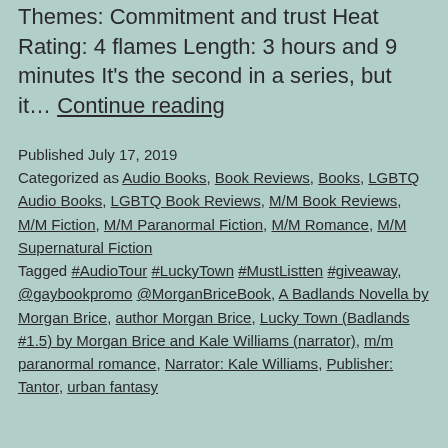Themes: Commitment and trust Heat Rating: 4 flames Length: 3 hours and 9 minutes It's the second in a series, but it… Continue reading
Published July 17, 2019
Categorized as Audio Books, Book Reviews, Books, LGBTQ Audio Books, LGBTQ Book Reviews, M/M Book Reviews, M/M Fiction, M/M Paranormal Fiction, M/M Romance, M/M Supernatural Fiction
Tagged #AudioTour #LuckyTown #MustListten #giveaway, @gaybookpromo @MorganBriceBook, A Badlands Novella by Morgan Brice, author Morgan Brice, Lucky Town (Badlands #1.5) by Morgan Brice and Kale Williams (narrator), m/m paranormal romance, Narrator: Kale Williams, Publisher: Tantor, urban fantasy